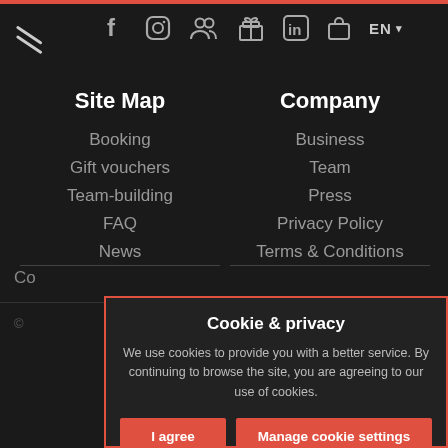Site navigation header with social icons: f (Facebook), Instagram, group icon, gift icon, LinkedIn, bag icon, EN language selector
Site Map
Booking
Gift vouchers
Team-building
FAQ
News
Company
Business
Team
Press
Privacy Policy
Terms & Conditions
Co...
©
Cookie & privacy
We use cookies to provide you with a better service. By continuing to browse the site, you are agreeing to our use of cookies.
I agree | Manage cookie settings